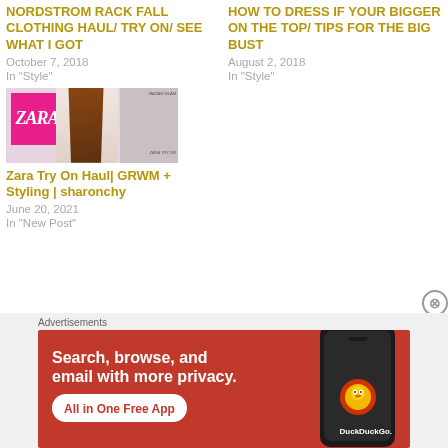NORDSTROM RACK FALL CLOTHING HAUL/ TRY ON/ SEE WHAT I GOT
October 7, 2018
In "Style"
HOW TO DRESS IF YOUR BIGGER ON THE TOP/ TIPS FOR THE BIG BUST
August 2, 2018
In "Style"
[Figure (photo): Thumbnail image of a woman holding a pink Zara shopping box with makeup products in background]
Zara Try On Haul| GRWM + Styling | sharonchy
June 20, 2021
In "New Post"
Advertisements
[Figure (screenshot): DuckDuckGo advertisement banner: Search, browse, and email with more privacy. All in One Free App. Shows phone with DuckDuckGo logo.]